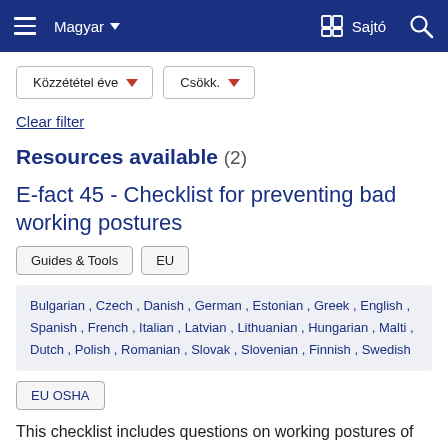Magyar  ▼   Sajtó  🔍
[Figure (screenshot): Filter dropdowns: 'Közzététel éve ▼' and 'Csökk. ▼']
Clear filter
Resources available (2)
E-fact 45 - Checklist for preventing bad working postures
Guides & Tools   EU
Bulgarian , Czech , Danish , German , Estonian , Greek , English , Spanish , French , Italian , Latvian , Lithuanian , Hungarian , Malti , Dutch , Polish , Romanian , Slovak , Slovenian , Finnish , Swedish
EU OSHA
This checklist includes questions on working postures of the back and neck, arms and hands, legs during sitting and standing tasks. It also gives